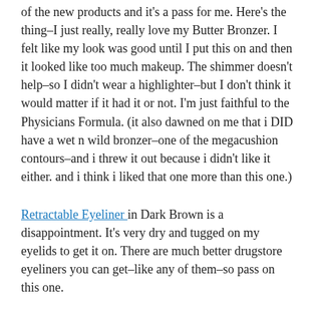of the new products and it's a pass for me. Here's the thing–I just really, really love my Butter Bronzer. I felt like my look was good until I put this on and then it looked like too much makeup. The shimmer doesn't help–so I didn't wear a highlighter–but I don't think it would matter if it had it or not. I'm just faithful to the Physicians Formula. (it also dawned on me that i DID have a wet n wild bronzer–one of the megacushion contours–and i threw it out because i didn't like it either. and i think i liked that one more than this one.)
Retractable Eyeliner in Dark Brown is a disappointment. It's very dry and tugged on my eyelids to get it on. There are much better drugstore eyeliners you can get–like any of them–so pass on this one.